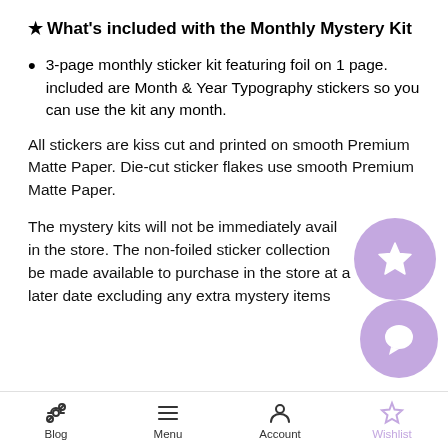★ What's included with the Monthly Mystery Kit
3-page monthly sticker kit featuring foil on 1 page.
included are Month & Year Typography stickers so you can use the kit any month.
All stickers are kiss cut and printed on smooth Premium Matte Paper. Die-cut sticker flakes use smooth Premium Matte Paper.
The mystery kits will not be immediately available in the store. The non-foiled sticker collection will be made available to purchase in the store at a later date excluding any extra mystery items.
Blog  Menu  Account  Wishlist